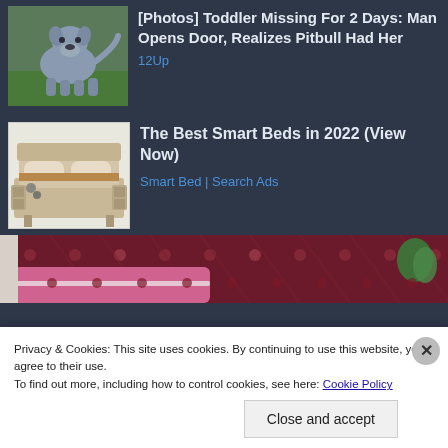[Figure (photo): Pitbull dog standing outdoors on grass, gray/blue coat]
[Photos] Toddler Missing For 2 Days: Man Opens Door, Realizes Pitbull Had Her
12Up
[Figure (photo): Smart adjustable bed with storage drawers, beige/tan colored]
The Best Smart Beds in 2022 (View Now)
Smart Bed | Search Ads
[Figure (photo): Red/pink tufted headboard with decorative studs, partial bedroom view]
Privacy & Cookies: This site uses cookies. By continuing to use this website, you agree to their use.
To find out more, including how to control cookies, see here: Cookie Policy
Close and accept